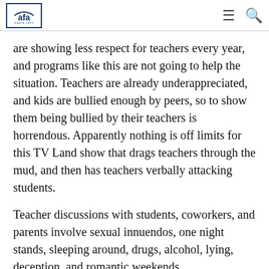AFA since 1977
are showing less respect for teachers every year, and programs like this are not going to help the situation. Teachers are already underappreciated, and kids are bullied enough by peers, so to show them being bullied by their teachers is horrendous. Apparently nothing is off limits for this TV Land show that drags teachers through the mud, and then has teachers verbally attacking students.
Teacher discussions with students, coworkers, and parents involve sexual innuendos, one night stands, sleeping around, drugs, alcohol, lying, deception, and romantic weekends.
1MM wants to support and encourage teachers, not belittle and mock them through a TV Land show that is